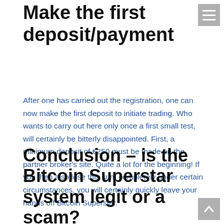Make the first deposit/payment
After one has carried out the registration, one can now make the first deposit to initiate trading. Who wants to carry out here only once a first small test, will certainly be bitterly disappointed. First, a minimum deposit of €250 must be made on the partner broker's site. Quite a lot for the beginning! If you then also lose this sum completely under certain circumstances, you will certainly quickly leave your hands off Bitcoin Superstar.
Conclusion – is the Bitcoin Superstar system legit or a scam?